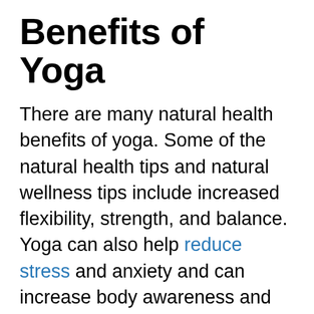Benefits of Yoga
There are many natural health benefits of yoga. Some of the natural health tips and natural wellness tips include increased flexibility, strength, and balance. Yoga can also help reduce stress and anxiety and can increase body awareness and mindfulness. It's also been proven to improve circulation and heart health. Some other benefits of yoga include increased energy, better sleep, improved digestion, and improved posture. Furthermore, many diabetes